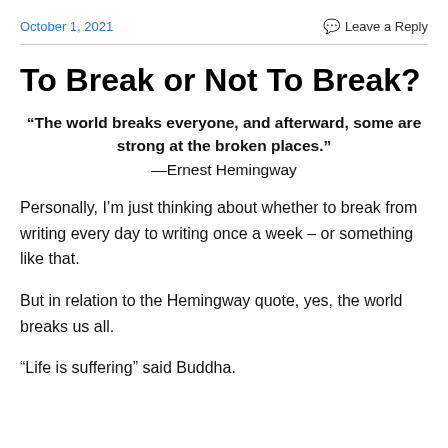October 1, 2021    Leave a Reply
To Break or Not To Break?
“The world breaks everyone, and afterward, some are strong at the broken places.” —Ernest Hemingway
Personally, I’m just thinking about whether to break from writing every day to writing once a week – or something like that.
But in relation to the Hemingway quote, yes, the world breaks us all.
“Life is suffering” said Buddha.